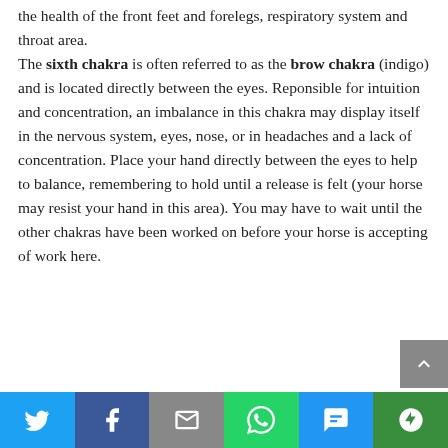the health of the front feet and forelegs, respiratory system and throat area.

The sixth chakra is often referred to as the brow chakra (indigo) and is located directly between the eyes. Reponsible for intuition and concentration, an imbalance in this chakra may display itself in the nervous system, eyes, nose, or in headaches and a lack of concentration. Place your hand directly between the eyes to help to balance, remembering to hold until a release is felt (your horse may resist your hand in this area). You may have to wait until the other chakras have been worked on before your horse is accepting of work here.
Social share bar: Twitter, Facebook, Email, WhatsApp, SMS, More